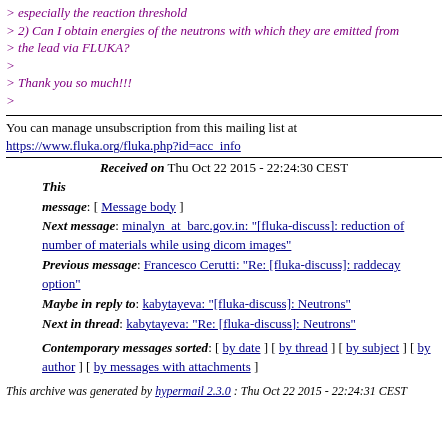> especially the reaction threshold
> 2) Can I obtain energies of the neutrons with which they are emitted from
> the lead via FLUKA?
>
> Thank you so much!!!
>
You can manage unsubscription from this mailing list at https://www.fluka.org/fluka.php?id=acc_info
Received on Thu Oct 22 2015 - 22:24:30 CEST
This message: [ Message body ]
Next message: minalyn_at_barc.gov.in: "[fluka-discuss]: reduction of number of materials while using dicom images"
Previous message: Francesco Cerutti: "Re: [fluka-discuss]: raddecay option"
Maybe in reply to: kabytayeva: "[fluka-discuss]: Neutrons"
Next in thread: kabytayeva: "Re: [fluka-discuss]: Neutrons"
Contemporary messages sorted: [ by date ] [ by thread ] [ by subject ] [ by author ] [ by messages with attachments ]
This archive was generated by hypermail 2.3.0 : Thu Oct 22 2015 - 22:24:31 CEST